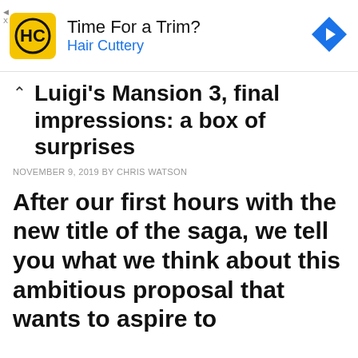[Figure (other): Hair Cuttery advertisement banner with yellow HC logo, text 'Time For a Trim? Hair Cuttery', and a blue diamond navigation arrow icon on the right.]
Luigi's Mansion 3, final impressions: a box of surprises
NOVEMBER 9, 2019 BY CHRIS WATSON
After our first hours with the new title of the saga, we tell you what we think about this ambitious proposal that wants to aspire to